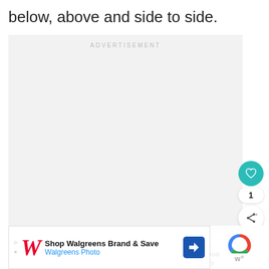below, above and side to side.
[Figure (other): Advertisement placeholder box with light gray background and 'ADVERTISEMENT' label centered at top]
[Figure (other): Like/heart button (teal circle with heart icon), like count '1', and share button below it on the right side]
[Figure (other): What's Next panel with thumbnail photo and text 'My Cockapoo Isn’t Cuddly']
[Figure (other): Walgreens advertisement banner: 'Shop Walgreens Brand & Save / Walgreens Photo' with Walgreens W logo and navigation arrow icon]